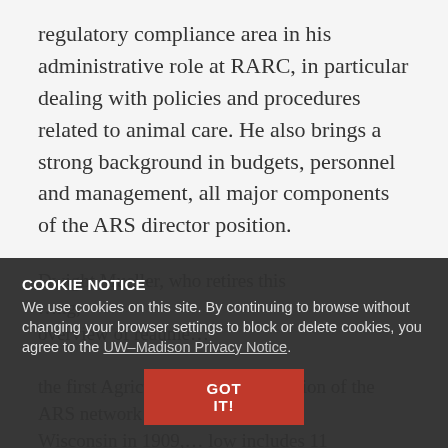regulatory compliance area in his administrative role at RARC, in particular dealing with policies and procedures related to animal care. He also brings a strong background in budgets, personnel and management, all major components of the ARS director position.
COOKIE NOTICE
We use cookies on this site. By continuing to browse without changing your browser settings to block or delete cookies, you agree to the UW–Madison Privacy Notice.
GOT IT!